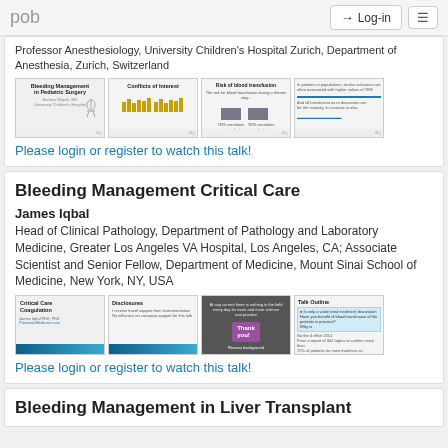pob  Log-in
Professor Anesthesiology, University Children's Hospital Zurich, Department of Anesthesia, Zurich, Switzerland
[Figure (screenshot): Four slide thumbnails from a presentation on Bleeding Management in Pediatric Surgery]
Please login or register to watch this talk!
Bleeding Management Critical Care
James Iqbal
Head of Clinical Pathology, Department of Pathology and Laboratory Medicine, Greater Los Angeles VA Hospital, Los Angeles, CA; Associate Scientist and Senior Fellow, Department of Medicine, Mount Sinai School of Medicine, New York, NY, USA
[Figure (screenshot): Four slide thumbnails from Critical Care Coagulation presentation by James Iqbal MD, PhD]
Please login or register to watch this talk!
Bleeding Management in Liver Transplant